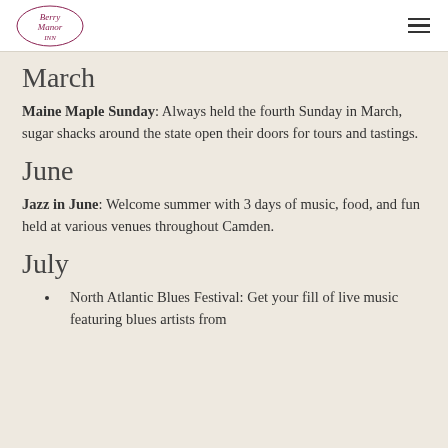Berry Manor Inn
March
Maine Maple Sunday: Always held the fourth Sunday in March, sugar shacks around the state open their doors for tours and tastings.
June
Jazz in June: Welcome summer with 3 days of music, food, and fun held at various venues throughout Camden.
July
North Atlantic Blues Festival: Get your fill of live music featuring blues artists from